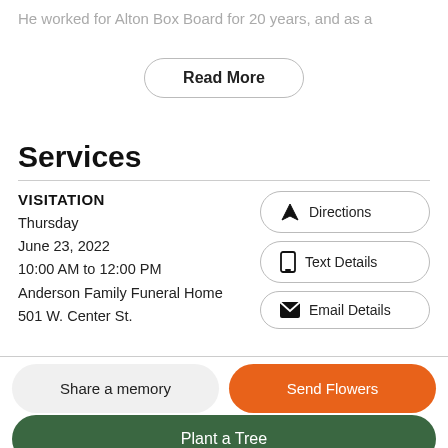He worked for Alton Box Board for 20 years, and as a
Read More
Services
VISITATION
Thursday
June 23, 2022
10:00 AM to 12:00 PM
Anderson Family Funeral Home
501 W. Center St.
Directions
Text Details
Email Details
Share a memory
Send Flowers
Plant a Tree